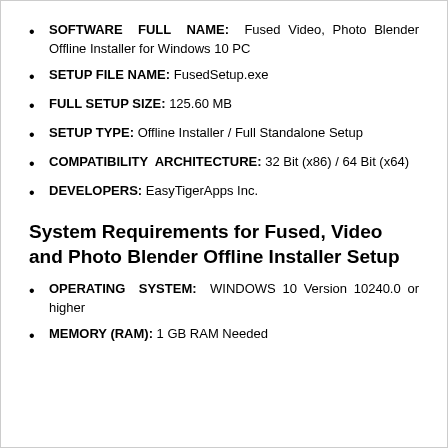SOFTWARE FULL NAME: Fused Video, Photo Blender Offline Installer for Windows 10 PC
SETUP FILE NAME: FusedSetup.exe
FULL SETUP SIZE: 125.60 MB
SETUP TYPE: Offline Installer / Full Standalone Setup
COMPATIBILITY ARCHITECTURE: 32 Bit (x86) / 64 Bit (x64)
DEVELOPERS: EasyTigerApps Inc.
System Requirements for Fused, Video and Photo Blender Offline Installer Setup
OPERATING SYSTEM: WINDOWS 10 Version 10240.0 or higher
MEMORY (RAM): 1 GB RAM Needed